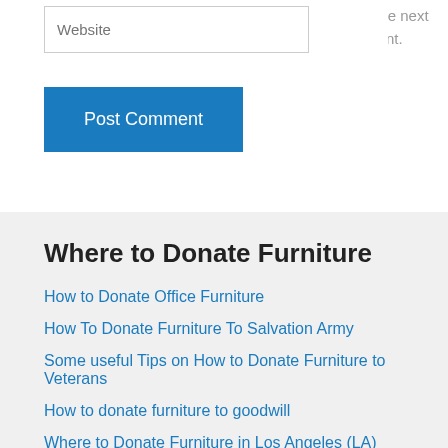browser for the next time I comment.
Website
Post Comment
Where to Donate Furniture
How to Donate Office Furniture
How To Donate Furniture To Salvation Army
Some useful Tips on How to Donate Furniture to Veterans
How to donate furniture to goodwill
Where to Donate Furniture in Los Angeles (LA)